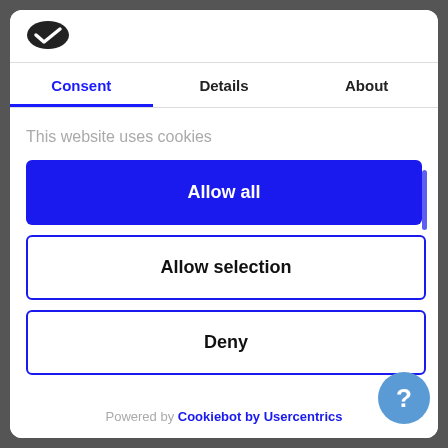[Figure (logo): Cookiebot logo icon - black oval/pill shape with checkmark]
Consent	Details	About
This website uses cookies
Allow all
Allow selection
Deny
Powered by Cookiebot by Usercentrics